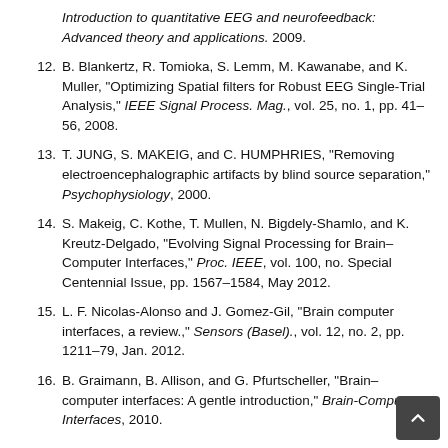Introduction to quantitative EEG and neurofeedback: Advanced theory and applications. 2009.
12. B. Blankertz, R. Tomioka, S. Lemm, M. Kawanabe, and K. Muller, "Optimizing Spatial filters for Robust EEG Single-Trial Analysis," IEEE Signal Process. Mag., vol. 25, no. 1, pp. 41–56, 2008.
13. T. JUNG, S. MAKEIG, and C. HUMPHRIES, "Removing electroencephalographic artifacts by blind source separation," Psychophysiology, 2000.
14. S. Makeig, C. Kothe, T. Mullen, N. Bigdely-Shamlo, and K. Kreutz-Delgado, "Evolving Signal Processing for Brain–Computer Interfaces," Proc. IEEE, vol. 100, no. Special Centennial Issue, pp. 1567–1584, May 2012.
15. L. F. Nicolas-Alonso and J. Gomez-Gil, "Brain computer interfaces, a review.," Sensors (Basel)., vol. 12, no. 2, pp. 1211–79, Jan. 2012.
16. B. Graimann, B. Allison, and G. Pfurtscheller, "Brain–computer interfaces: A gentle introduction," Brain-Computer Interfaces, 2010.